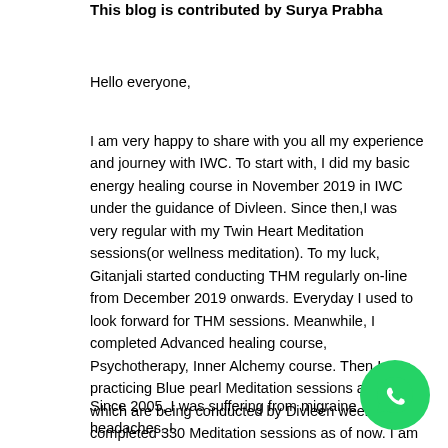This blog is contributed by Surya Prabha
Hello everyone,
I am very happy to share with you all my experience and journey with IWC. To start with, I did my basic energy healing course in November 2019 in IWC under the guidance of Divleen. Since then,I was very regular with my Twin Heart Meditation sessions(or wellness meditation). To my luck, Gitanjali started conducting THM regularly on-line from December 2019 onwards. Everyday I used to look forward for THM sessions. Meanwhile, I completed Advanced healing course, Psychotherapy, Inner Alchemy course. Then I was practicing Blue pearl Meditation sessions as well which are being conducted by Divleen weekly. I completed 330 Meditation sessions as of now. I am glad to be associated with IWC.
Since 2005, I was suffering from migraine headaches. I
[Figure (logo): WhatsApp icon — green circle with white phone handset symbol]